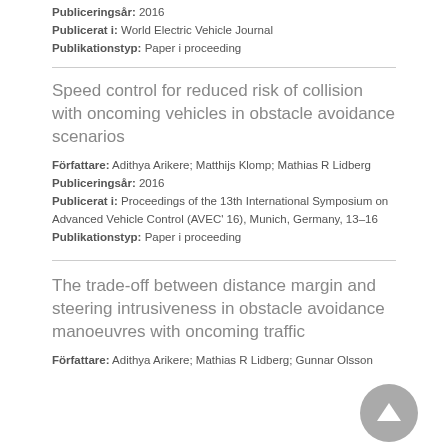Publiceringsår: 2016
Publicerat i: World Electric Vehicle Journal
Publikationstyp: Paper i proceeding
Speed control for reduced risk of collision with oncoming vehicles in obstacle avoidance scenarios
Författare: Adithya Arikere; Matthijs Klomp; Mathias R Lidberg
Publiceringsår: 2016
Publicerat i: Proceedings of the 13th International Symposium on Advanced Vehicle Control (AVEC' 16), Munich, Germany, 13–16
Publikationstyp: Paper i proceeding
The trade-off between distance margin and steering intrusiveness in obstacle avoidance manoeuvres with oncoming traffic
Författare: Adithya Arikere; Mathias R Lidberg; Gunnar Olsson